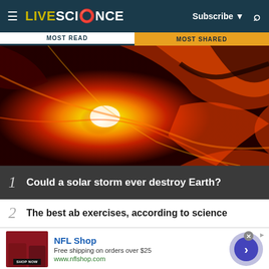LIVESCIENCE — Subscribe — Search
MOST READ | MOST SHARED
[Figure (photo): Close-up image of a solar flare or solar storm — fiery red, orange and yellow plasma erupting from the sun's surface]
1 Could a solar storm ever destroy Earth?
2 The best ab exercises, according to science
[Figure (infographic): Advertisement for NFL Shop: product image of red canisters, NFL Shop brand name in blue, text 'Free shipping on orders over $25', URL www.nflshop.com, SHOP NOW button, and a blue arrow circle button]